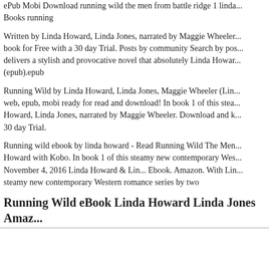ePub Mobi Download running wild the men from battle ridge 1 linda... Books running
Written by Linda Howard, Linda Jones, narrated by Maggie Wheeler... book for Free with a 30 day Trial. Posts by community Search by pos... delivers a stylish and provocative novel that absolutely Linda Howar... (epub).epub
Running Wild by Linda Howard, Linda Jones, Maggie Wheeler (Lin... web, epub, mobi ready for read and download! In book 1 of this stea... Howard, Linda Jones, narrated by Maggie Wheeler. Download and k... 30 day Trial.
Running wild ebook by linda howard - Read Running Wild The Men... Howard with Kobo. In book 1 of this steamy new contemporary Wes... November 4, 2016 Linda Howard & Lin... Ebook. Amazon. With Lin... steamy new contemporary Western romance series by two
Running Wild eBook Linda Howard Linda Jones Amaz...